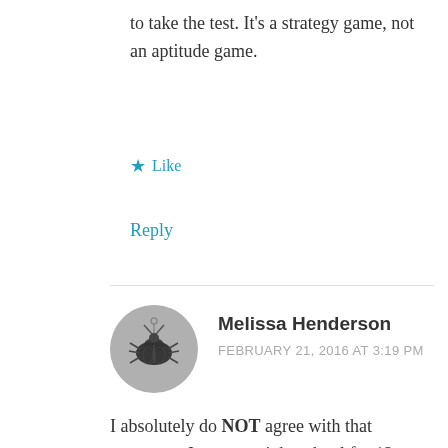to take the test. It's a strategy game, not an aptitude game.
★ Like
Reply
[Figure (photo): Circular avatar photo of Melissa Henderson showing a decorative insect/beetle brooch in black and white]
Melissa Henderson
FEBRUARY 21, 2016 AT 3:19 PM
I absolutely do NOT agree with that statement. I went to night school for 12 years, while working and raising my daughters and stressing the importance of a good education. However, my salary is NOT six figures and we are far from well off. Both of my daughters